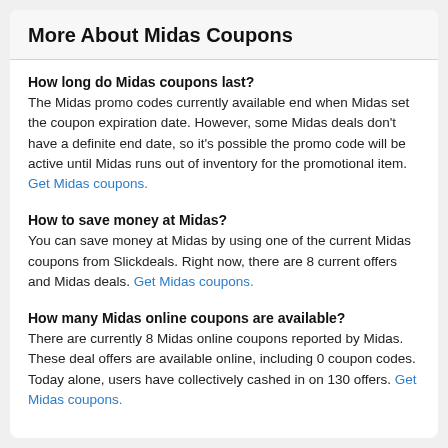More About Midas Coupons
How long do Midas coupons last?
The Midas promo codes currently available end when Midas set the coupon expiration date. However, some Midas deals don't have a definite end date, so it's possible the promo code will be active until Midas runs out of inventory for the promotional item. Get Midas coupons.
How to save money at Midas?
You can save money at Midas by using one of the current Midas coupons from Slickdeals. Right now, there are 8 current offers and Midas deals. Get Midas coupons.
How many Midas online coupons are available?
There are currently 8 Midas online coupons reported by Midas. These deal offers are available online, including 0 coupon codes. Today alone, users have collectively cashed in on 130 offers. Get Midas coupons.